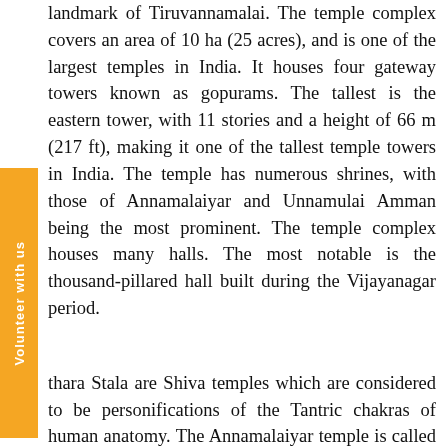landmark of Tiruvannamalai. The temple complex covers an area of 10 ha (25 acres), and is one of the largest temples in India. It houses four gateway towers known as gopurams. The tallest is the eastern tower, with 11 stories and a height of 66 m (217 ft), making it one of the tallest temple towers in India. The temple has numerous shrines, with those of Annamalaiyar and Unnamulai Amman being the most prominent. The temple complex houses many halls. The most notable is the thousand-pillared hall built during the Vijayanagar period.
thara Stala are Shiva temples which are considered to be personifications of the Tantric chakras of human anatomy. The Annamalaiyar temple is called the Manipooraga stalam, and is associated with the Manipooraga chakra. The temple is revered in Tevaram, the Tamil Saiva canon and classified as Paadal Petra Sthalam, one of the 276 temples that find mention in the